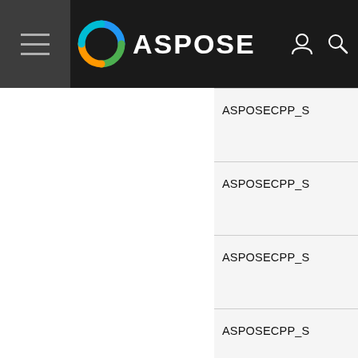ASPOSE
ASPOSECPP_S
ASPOSECPP_S
ASPOSECPP_S
ASPOSECPP_S